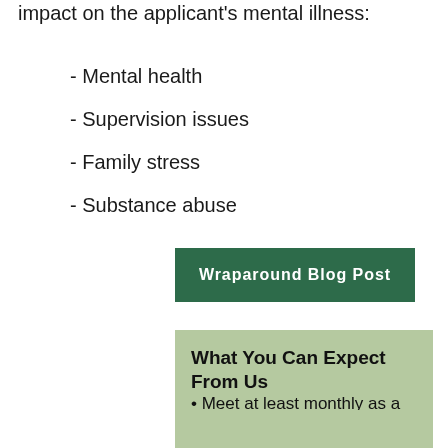impact on the applicant's mental illness:
- Mental health
- Supervision issues
- Family stress
- Substance abuse
Wraparound Blog Post
What You Can Expect From Us
• Meet at least monthly as a team to ensure progress on established support goals.
• At least weekly contact with Wraparound facilitator for support and encouragement.